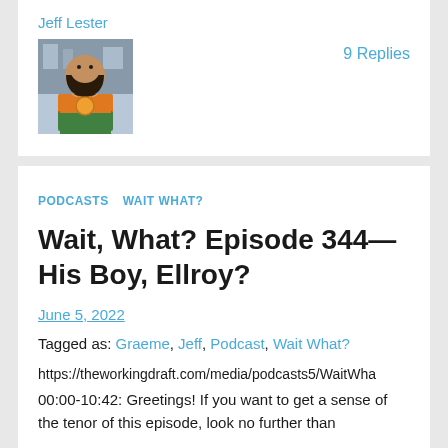Jeff Lester
9 Replies
PODCASTS   WAIT WHAT?
Wait, What? Episode 344—His Boy, Ellroy?
June 5, 2022
Tagged as: Graeme, Jeff, Podcast, Wait What?
https://theworkingdraft.com/media/podcasts5/WaitWha...
00:00-10:42: Greetings! If you want to get a sense of the tenor of this episode, look no further than